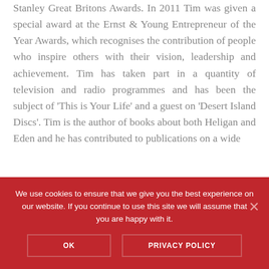Stanley Great Britons Awards. In 2011 Tim was given a special award at the Ernst & Young Entrepreneur of the Year Awards, which recognises the contribution of people who inspire others with their vision, leadership and achievement. Tim has taken part in a quantity of television and radio programmes and has been the subject of 'This is Your Life' and a guest on 'Desert Island Discs'. Tim is the author of books about both Heligan and Eden and he has contributed to publications on a wide
We use cookies to ensure that we give you the best experience on our website. If you continue to use this site we will assume that you are happy with it.